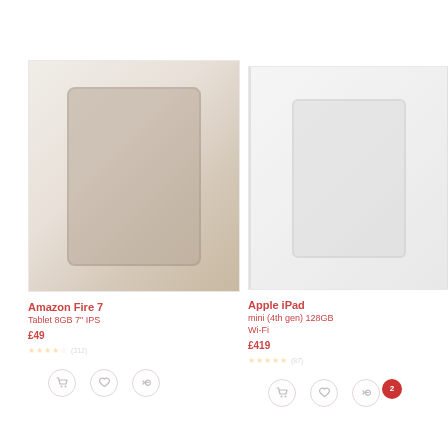[Figure (photo): Product card for Amazon Fire 7 tablet showing a tablet device image (very faint/washed out)]
Amazon Fire 7 Tablet 8GB 7" IPS £49
[Figure (photo): Product card for Apple iPad mini showing a tablet device image (very faint/washed out)]
Apple iPad mini (4th gen) 128GB Wi-Fi £419